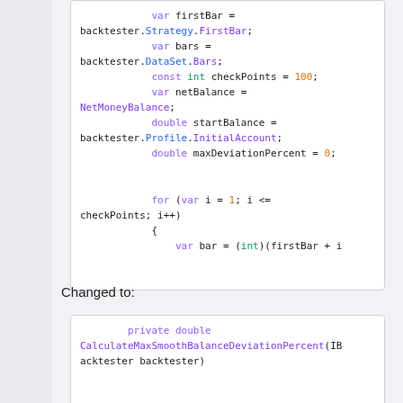[Figure (screenshot): Code block showing C# variable declarations: var firstBar, var bars, const int checkPoints = 100, var netBalance, double startBalance, double maxDeviationPercent = 0, for loop start, var bar = (int)(firstBar + i]
Changed to:
[Figure (screenshot): Code block showing C# method signature: private double CalculateMaxSmoothBalanceDeviationPercent(IBacktester backtester)]